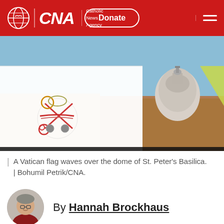CNA | Catholic News Agency
[Figure (photo): A Vatican flag (showing the papal keys and tiara emblem) waves in the foreground with the dome of St. Peter's Basilica visible in the background against a blue sky.]
A Vatican flag waves over the dome of St. Peter's Basilica. | Bohumil Petrik/CNA.
By Hannah Brockhaus